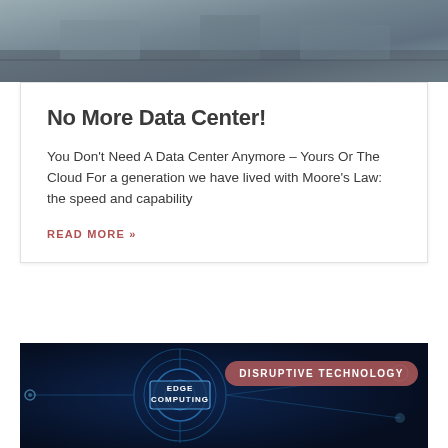[Figure (photo): Outdoor urban/industrial scene photograph at top of page]
No More Data Center!
You Don't Need A Data Center Anymore – Yours Or The Cloud For a generation we have lived with Moore's Law:  the speed and capability
READ MORE »
[Figure (photo): Dark blue technology background image with circular network diagrams and text reading EDGE COMPUTING in the center, DISRUPTIVE TECHNOLOGY badge overlay]